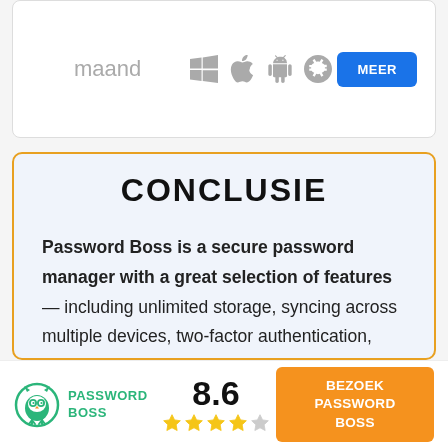maand
[Figure (infographic): Platform icons: Windows, Apple, Android, App Store — shown in gray]
MEER
CONCLUSIE
Password Boss is a secure password manager with a great selection of features — including unlimited storage, syncing across multiple devices, two-factor authentication, secure password sharing, password security auditing, and emergency access. Password Boss is a...
[Figure (logo): Password Boss owl logo in green]
PASSWORD BOSS
8.6
[Figure (infographic): 4 filled gold stars and 1 gray star rating]
BEZOEK PASSWORD BOSS